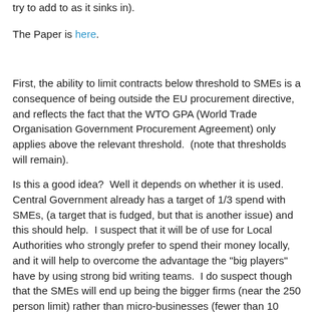try to add to as it sinks in).
The Paper is here.
First, the ability to limit contracts below threshold to SMEs is a consequence of being outside the EU procurement directive, and reflects the fact that the WTO GPA (World Trade Organisation Government Procurement Agreement) only applies above the relevant threshold.  (note that thresholds will remain).
Is this a good idea?  Well it depends on whether it is used.  Central Government already has a target of 1/3 spend with SMEs, (a target that is fudged, but that is another issue) and this should help.  I suspect that it will be of use for Local Authorities who strongly prefer to spend their money locally, and it will help to overcome the advantage the "big players" have by using strong bid writing teams.  I do suspect though that the SMEs will end up being the bigger firms (near the 250 person limit) rather than micro-businesses (fewer than 10 employees).